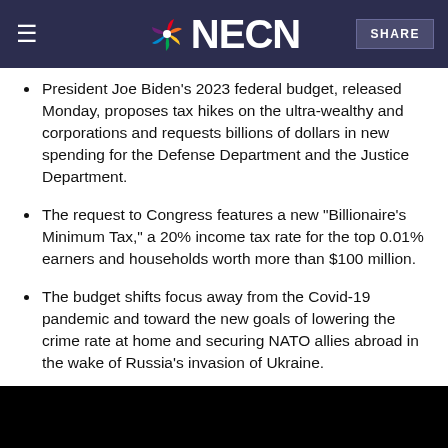NECN — SHARE
President Joe Biden's 2023 federal budget, released Monday, proposes tax hikes on the ultra-wealthy and corporations and requests billions of dollars in new spending for the Defense Department and the Justice Department.
The request to Congress features a new "Billionaire's Minimum Tax," a 20% income tax rate for the top 0.01% earners and households worth more than $100 million.
The budget shifts focus away from the Covid-19 pandemic and toward the new goals of lowering the crime rate at home and securing NATO allies abroad in the wake of Russia's invasion of Ukraine.
[Figure (photo): Black rectangle representing a video thumbnail or image at the bottom of the page]